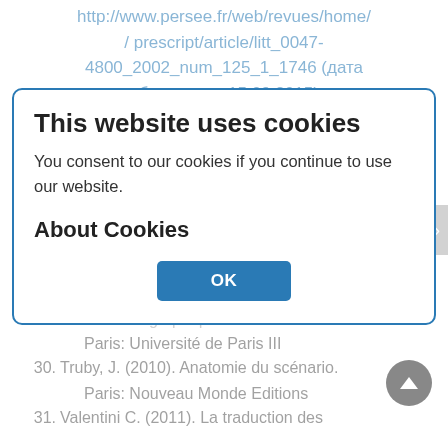http://www.persee.fr/web/revues/home/ prescript/article/litt_0047-4800_2002_num_125_1_1746 (дата обращения: 15.09.2015)
27. Raynauld, I. (2014). Lire et écrire un scénario: Le scénario de film comme
28. [faded text]
du sous-titrage // La traduction audiovisuelle. Approche du sous-titrage. Bruxelles: De Boeck, 65–19
29. Soh Tatcha Ch... Sons et doublage cinématographique: thèse de doctorat. Paris: Université de Paris III
30. Truby, J. (2010). Anatomie du scénario. Paris: Nouveau Monde Editions
31. Valentini C. (2011). La traduction des
[Figure (screenshot): Cookie consent dialog overlay with title 'This website uses cookies', body text 'You consent to our cookies if you continue to use our website.', 'About Cookies' subheading, and an OK button in blue.]